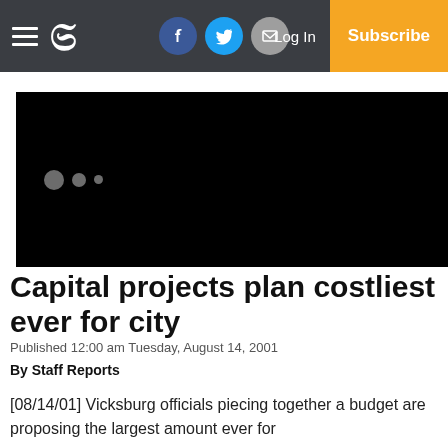Vicksburg Post navigation bar with logo, social icons, Log In, Subscribe
[Figure (photo): Black image area with three dot indicators (carousel)]
Capital projects plan costliest ever for city
Published 12:00 am Tuesday, August 14, 2001
By Staff Reports
[08/14/01] Vicksburg officials piecing together a budget are proposing the largest amount ever for capital projects for a government entity.